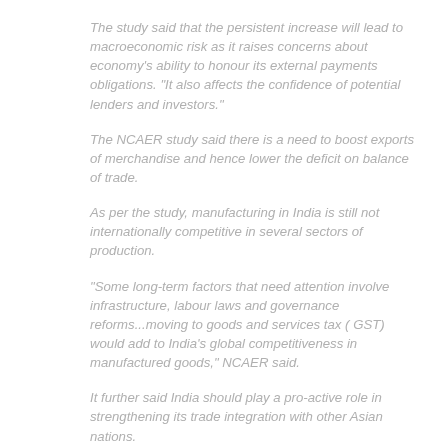The study said that the persistent increase will lead to macroeconomic risk as it raises concerns about economy's ability to honour its external payments obligations. "It also affects the confidence of potential lenders and investors."
The NCAER study said there is a need to boost exports of merchandise and hence lower the deficit on balance of trade.
As per the study, manufacturing in India is still not internationally competitive in several sectors of production.
"Some long-term factors that need attention involve infrastructure, labour laws and governance reforms...moving to goods and services tax ( GST) would add to India's global competitiveness in manufactured goods," NCAER said.
It further said India should play a pro-active role in strengthening its trade integration with other Asian nations.